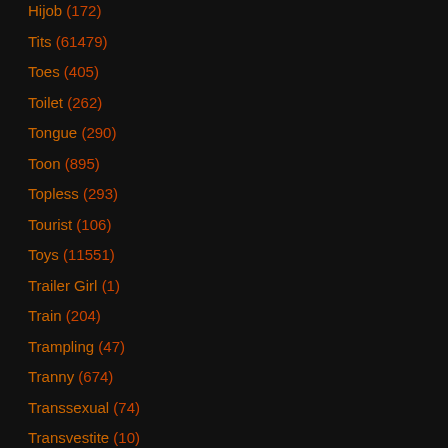Hijob (172)
Tits (61479)
Toes (405)
Toilet (262)
Tongue (290)
Toon (895)
Topless (293)
Tourist (106)
Toys (11551)
Trailer Girl (1)
Train (204)
Trampling (47)
Tranny (674)
Transsexual (74)
Transvestite (10)
Tribbing (92)